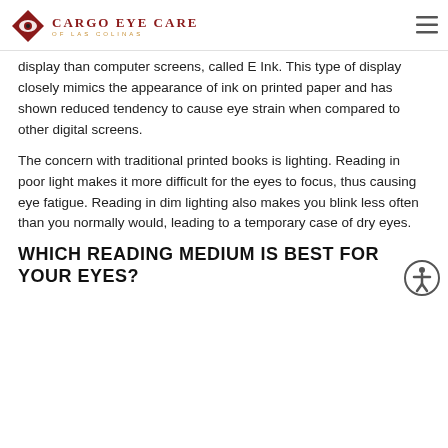CARGO EYE CARE OF LAS COLINAS
display than computer screens, called E Ink. This type of display closely mimics the appearance of ink on printed paper and has shown reduced tendency to cause eye strain when compared to other digital screens.
The concern with traditional printed books is lighting. Reading in poor light makes it more difficult for the eyes to focus, thus causing eye fatigue. Reading in dim lighting also makes you blink less often than you normally would, leading to a temporary case of dry eyes.
WHICH READING MEDIUM IS BEST FOR YOUR EYES?